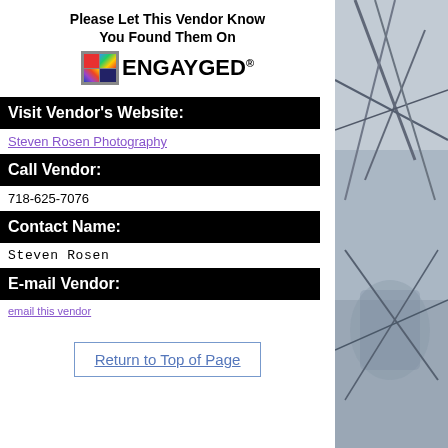Please Let This Vendor Know You Found Them On
[Figure (logo): EnGayGed logo with rainbow colored squares and bold text ENGAYGED with registered trademark symbol]
Visit Vendor's Website:
Steven Rosen Photography
Call Vendor:
718-625-7076
Contact Name:
Steven Rosen
E-mail Vendor:
email this vendor
Return to Top of Page
[Figure (photo): Background photo on right side showing architectural/structural metalwork with grey blue tones]